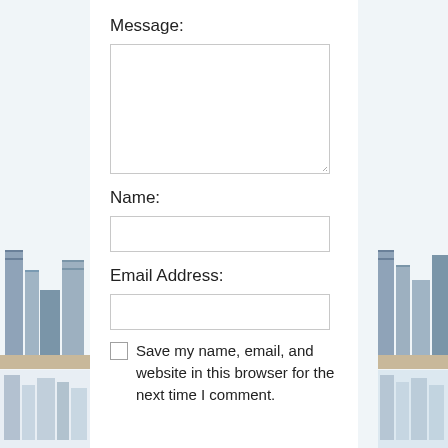Message:
[Figure (other): Empty textarea input field with resize handle]
Name:
[Figure (other): Empty single-line text input field for name]
Email Address:
[Figure (other): Empty single-line text input field for email address]
Save my name, email, and website in this browser for the next time I comment.